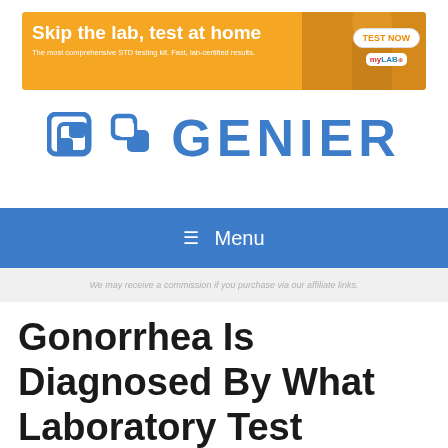[Figure (screenshot): Advertisement banner: orange background with text 'Skip the lab, test at home', subtitle 'The most comprehensive STD testing kit. Fast, lab-certified results', a TEST NOW button, and myLAB Box logo with a woman's image on the right]
[Figure (logo): Genier website logo: blue square icon with interlocking G shapes followed by the word GENIER in large blue letters]
≡  Menu
We may receive a commission if you purchase via our affiliate links.
Gonorrhea Is Diagnosed By What Laboratory Test